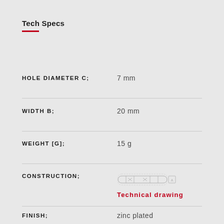Tech Specs
| Specification | Value |
| --- | --- |
| HOLE DIAMETER C; | 7 mm |
| WIDTH B; | 20 mm |
| WEIGHT [G]; | 15 g |
| CONSTRUCTION; | Technical drawing |
| FINISH; | zinc plated |